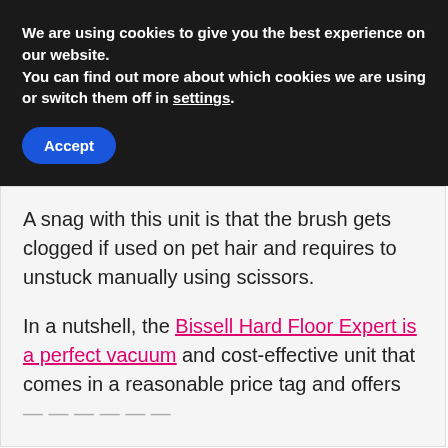We are using cookies to give you the best experience on our website.
You can find out more about which cookies we are using or switch them off in settings.
Accept
A snag with this unit is that the brush gets clogged if used on pet hair and requires to unstuck manually using scissors.
In a nutshell, the Bissell Hard Floor Expert is a perfect vacuum and cost-effective unit that comes in a reasonable price tag and offers